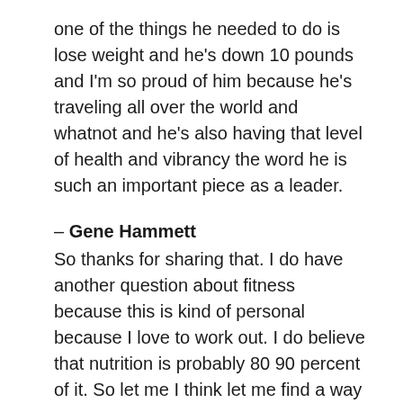one of the things he needed to do is lose weight and he's down 10 pounds and I'm so proud of him because he's traveling all over the world and whatnot and he's also having that level of health and vibrancy the word he is such an important piece as a leader.
– Gene Hammett
So thanks for sharing that. I do have another question about fitness because this is kind of personal because I love to work out. I do believe that nutrition is probably 80 90 percent of it. So let me I think let me find a way that's the same way I think I've lost a lot of weight even if I didn't work out.